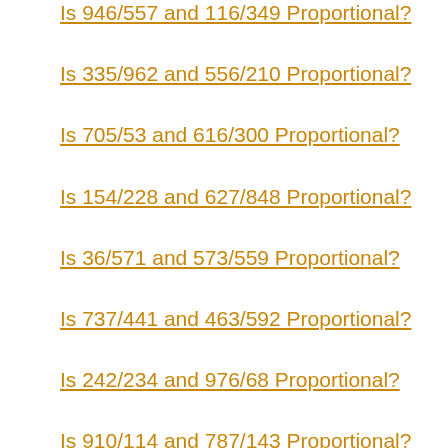Is 946/557 and 116/349 Proportional?
Is 335/962 and 556/210 Proportional?
Is 705/53 and 616/300 Proportional?
Is 154/228 and 627/848 Proportional?
Is 36/571 and 573/559 Proportional?
Is 737/441 and 463/592 Proportional?
Is 242/234 and 976/68 Proportional?
Is 910/114 and 787/143 Proportional?
Is 159/411 and 487/823 Proportional?